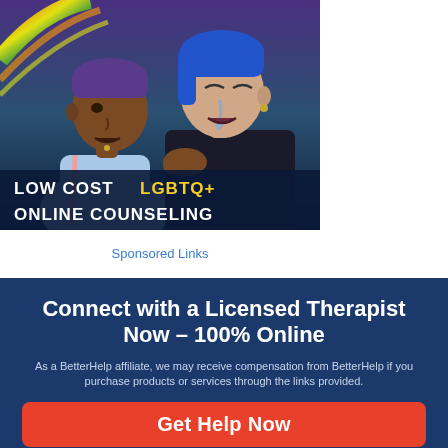[Figure (illustration): Illustrated artwork showing two figures — one with dark skin and purple hair wearing a light blue top, the other with blue hair and a dark jacket with a tear on their cheek. Rainbow colors visible in upper left. Dark blue background. Text overlay at bottom reads: LOW COST LGBTQ+ ONLINE COUNSELING]
Sponsored Links
Connect with a Licensed Therapist Now - 100% Online
As a BetterHelp affiliate, we may receive compensation from BetterHelp if you purchase products or services through the links provided.
Get Help Now